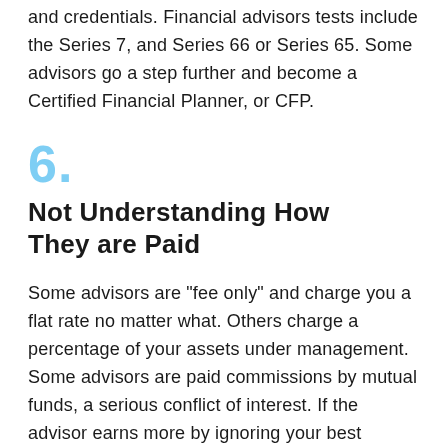and credentials. Financial advisors tests include the Series 7, and Series 66 or Series 65. Some advisors go a step further and become a Certified Financial Planner, or CFP.
6.
Not Understanding How They are Paid
Some advisors are "fee only" and charge you a flat rate no matter what. Others charge a percentage of your assets under management. Some advisors are paid commissions by mutual funds, a serious conflict of interest. If the advisor earns more by ignoring your best interests, do not hire them.